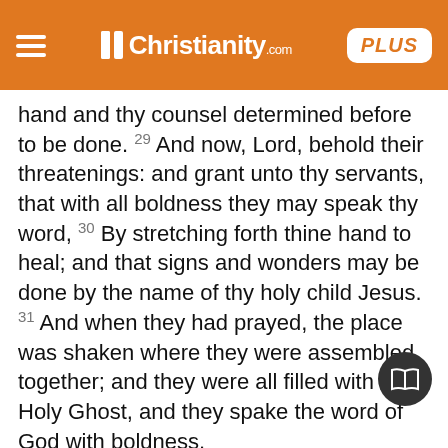iChristianity.com PLUS
hand and thy counsel determined before to be done. 29 And now, Lord, behold their threatenings: and grant unto thy servants, that with all boldness they may speak thy word, 30 By stretching forth thine hand to heal; and that signs and wonders may be done by the name of thy holy child Jesus. 31 And when they had prayed, the place was shaken where they were assembled together; and they were all filled with the Holy Ghost, and they spake the word of God with boldness.
All Things in Common
32 And the multitude of them that believed were